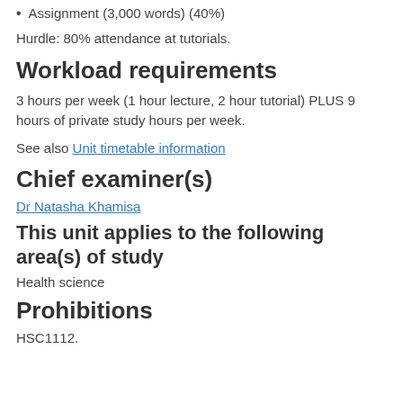Assignment (3,000 words) (40%)
Hurdle: 80% attendance at tutorials.
Workload requirements
3 hours per week (1 hour lecture, 2 hour tutorial) PLUS 9 hours of private study hours per week.
See also Unit timetable information
Chief examiner(s)
Dr Natasha Khamisa
This unit applies to the following area(s) of study
Health science
Prohibitions
HSC1112.